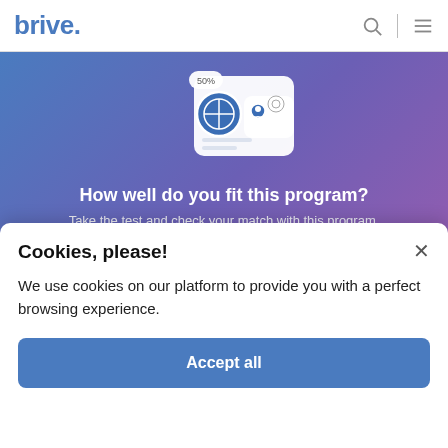brive.
[Figure (illustration): Gradient banner with card UI illustration showing 50% match badge, crosshair icon, user icon, and another icon on stacked cards]
How well do you fit this program?
Take the test and check your match with this program.
Take the test
Cookies, please!
We use cookies on our platform to provide you with a perfect browsing experience.
Accept all